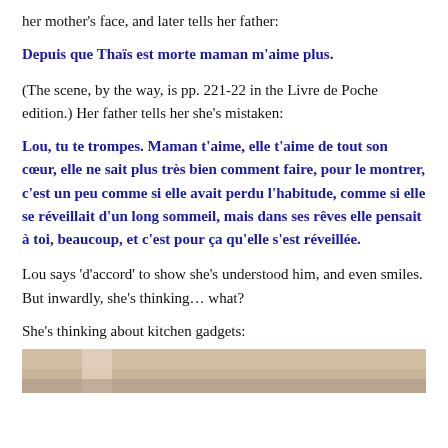her mother's face, and later tells her father:
Depuis que Thaïs est morte maman m'aime plus.
(The scene, by the way, is pp. 221-22 in the Livre de Poche edition.) Her father tells her she's mistaken:
Lou, tu te trompes. Maman t'aime, elle t'aime de tout son cœur, elle ne sait plus très bien comment faire, pour le montrer, c'est un peu comme si elle avait perdu l'habitude, comme si elle se réveillait d'un long sommeil, mais dans ses rêves elle pensait à toi, beaucoup, et c'est pour ça qu'elle s'est réveillée.
Lou says 'd'accord' to show she's understood him, and even smiles. But inwardly, she's thinking… what?
She's thinking about kitchen gadgets:
[Figure (photo): Partial image of a kitchen scene at the bottom of the page, cropped.]